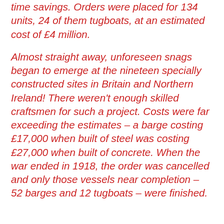time savings. Orders were placed for 134 units, 24 of them tugboats, at an estimated cost of £4 million.
Almost straight away, unforeseen snags began to emerge at the nineteen specially constructed sites in Britain and Northern Ireland! There weren't enough skilled craftsmen for such a project. Costs were far exceeding the estimates – a barge costing £17,000 when built of steel was costing £27,000 when built of concrete. When the war ended in 1918, the order was cancelled and only those vessels near completion – 52 barges and 12 tugboats – were finished.